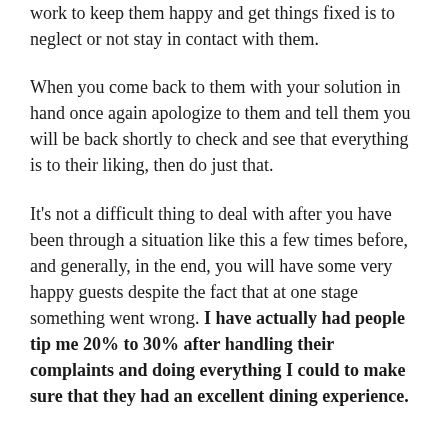work to keep them happy and get things fixed is to neglect or not stay in contact with them.
When you come back to them with your solution in hand once again apologize to them and tell them you will be back shortly to check and see that everything is to their liking, then do just that.
It's not a difficult thing to deal with after you have been through a situation like this a few times before, and generally, in the end, you will have some very happy guests despite the fact that at one stage something went wrong. I have actually had people tip me 20% to 30% after handling their complaints and doing everything I could to make sure that they had an excellent dining experience.